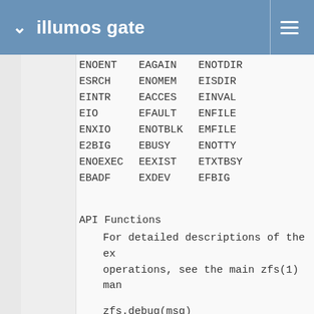illumos gate
| ENOENT | EAGAIN | ENOTDIR |
| ESRCH | ENOMEM | EISDIR |
| EINTR | EACCES | EINVAL |
| EIO | EFAULT | ENFILE |
| ENXIO | ENOTBLK | EMFILE |
| E2BIG | EBUSY | ENOTTY |
| ENOEXEC | EEXIST | ETXTBSY |
| EBADF | EXDEV | EFBIG |
API Functions
For detailed descriptions of the ex operations, see the main zfs(1) man
zfs.debug(msg)
Record a debug message in the z can be printed via mdb's "::zfs live by running: